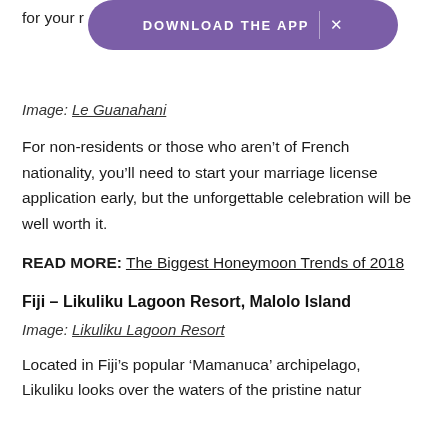for your … ple.
[Figure (screenshot): Purple pill-shaped app download banner with text 'DOWNLOAD THE APP' and an X close button on a white background]
Image: Le Guanahani
For non-residents or those who aren't of French nationality, you'll need to start your marriage license application early, but the unforgettable celebration will be well worth it.
READ MORE: The Biggest Honeymoon Trends of 2018
Fiji – Likuliku Lagoon Resort, Malolo Island
Image: Likuliku Lagoon Resort
Located in Fiji's popular 'Mamanuca' archipelago, Likuliku looks over the waters of the pristine natural